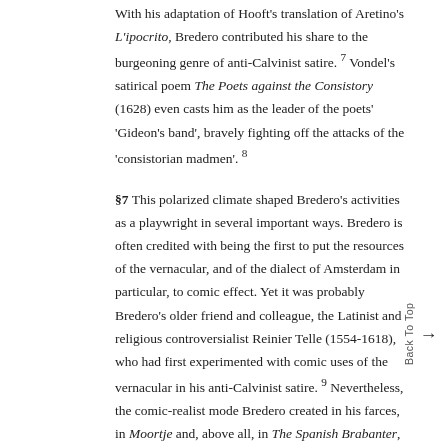With his adaptation of Hooft's translation of Aretino's L'ipocrito, Bredero contributed his share to the burgeoning genre of anti-Calvinist satire. 7 Vondel's satirical poem The Poets against the Consistory (1628) even casts him as the leader of the poets' 'Gideon's band', bravely fighting off the attacks of the 'consistorian madmen'. 8
§7 This polarized climate shaped Bredero's activities as a playwright in several important ways. Bredero is often credited with being the first to put the resources of the vernacular, and of the dialect of Amsterdam in particular, to comic effect. Yet it was probably Bredero's older friend and colleague, the Latinist and religious controversialist Reinier Telle (1554-1618), who had first experimented with comic uses of the vernacular in his anti-Calvinist satire. 9 Nevertheless, the comic-realist mode Bredero created in his farces, in Moortje and, above all, in The Spanish Brabanter, transcends the confines of the satirical to present the audience with a sweeping canvas of the comedy of urban life.